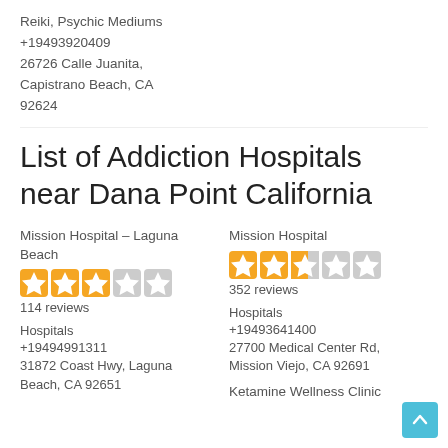Reiki, Psychic Mediums
+19493920409
26726 Calle Juanita,
Capistrano Beach, CA
92624
List of Addiction Hospitals near Dana Point California
Mission Hospital – Laguna Beach
114 reviews
Hospitals
+19494991311
31872 Coast Hwy, Laguna Beach, CA 92651
Mission Hospital
352 reviews
Hospitals
+19493641400
27700 Medical Center Rd, Mission Viejo, CA 92691
Ketamine Wellness Clinic